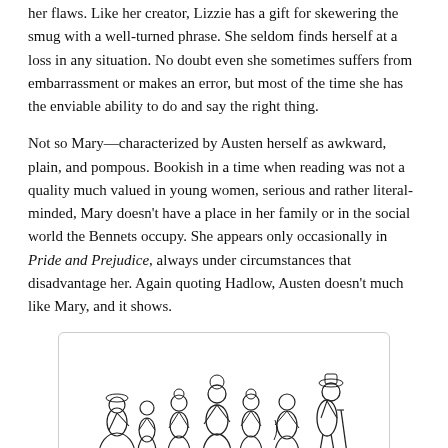her flaws. Like her creator, Lizzie has a gift for skewering the smug with a well-turned phrase. She seldom finds herself at a loss in any situation. No doubt even she sometimes suffers from embarrassment or makes an error, but most of the time she has the enviable ability to do and say the right thing.
Not so Mary—characterized by Austen herself as awkward, plain, and pompous. Bookish in a time when reading was not a quality much valued in young women, serious and rather literal-minded, Mary doesn't have a place in her family or in the social world the Bennets occupy. She appears only occasionally in Pride and Prejudice, always under circumstances that disadvantage her. Again quoting Hadlow, Austen doesn't much like Mary, and it shows.
[Figure (illustration): Line drawing illustration of Regency-era figures: a group of women in empire-waist dresses and a man with a cane, in the style of period fashion plates.]
It seems natural to wonder what life looks like through this under-valued character's eyes and imagine what might happen to her in later years. But doing so convincingly is a more difficult proposition. This is where Hadlow excels: the years that went into this obvious labor of love produce a richly textured, wholly